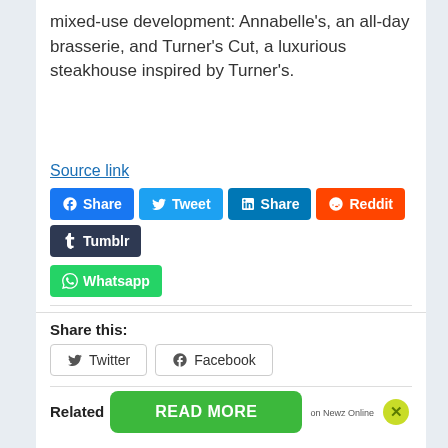mixed-use development: Annabelle's, an all-day brasserie, and Turner's Cut, a luxurious steakhouse inspired by Turner's.
Source link
[Figure (other): Social media share buttons: Facebook Share, Tweet, LinkedIn Share, Reddit, Tumblr, Whatsapp]
Share this:
[Figure (other): Share buttons: Twitter, Facebook]
Related
[Figure (other): READ MORE green button with on Newz Online label and X close button]